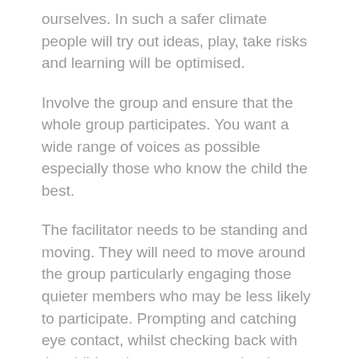ourselves. In such a safer climate people will try out ideas, play, take risks and learning will be optimised.
Involve the group and ensure that the whole group participates. You want a wide range of voices as possible especially those who know the child the best.
The facilitator needs to be standing and moving. They will need to move around the group particularly engaging those quieter members who may be less likely to participate. Prompting and catching eye contact, whilst checking back with the child – what a group member is saying before it gets recorded.
Process facilitators that bravely wait, hold the space, especially those experiencing a line with...